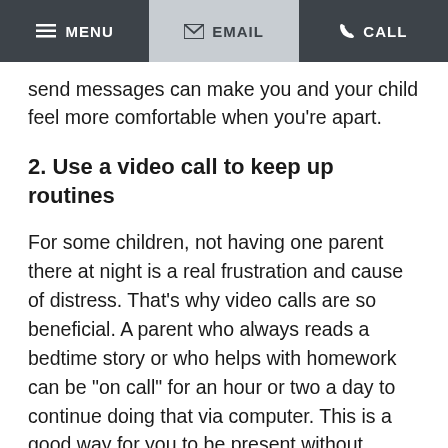MENU  EMAIL  CALL
send messages can make you and your child feel more comfortable when you're apart.
2. Use a video call to keep up routines
For some children, not having one parent there at night is a real frustration and cause of distress. That's why video calls are so beneficial. A parent who always reads a bedtime story or who helps with homework can be "on call" for an hour or two a day to continue doing that via computer. This is a good way for you to be present without having to physically be in your ex-spouse's home or to be present during their custody